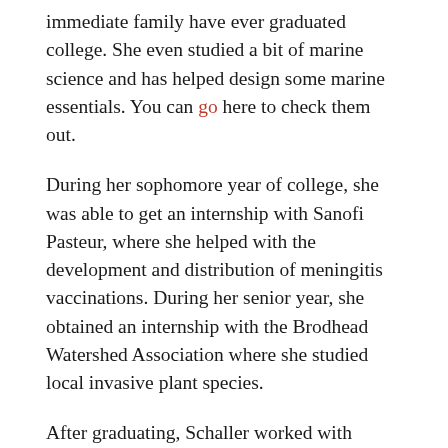immediate family have ever graduated college. She even studied a bit of marine science and has helped design some marine essentials. You can go here to check them out.
During her sophomore year of college, she was able to get an internship with Sanofi Pasteur, where she helped with the development and distribution of meningitis vaccinations. During her senior year, she obtained an internship with the Brodhead Watershed Association where she studied local invasive plant species.
After graduating, Schaller worked with Sanofi Pasteur in environmental monitoring, where it was her duty to ensure that the company was abiding by FDA regulations. Coincidentally, this was during the time when H1N1, also known as Swine Flu, was an epidemic.
After her work with Sanofi Pasteur, Schaller decided to go to graduate school, and returned to ESU. For her graduate research, she worked with phragmites, a type of reed that has a native species as well as an invasive species. She extracted...